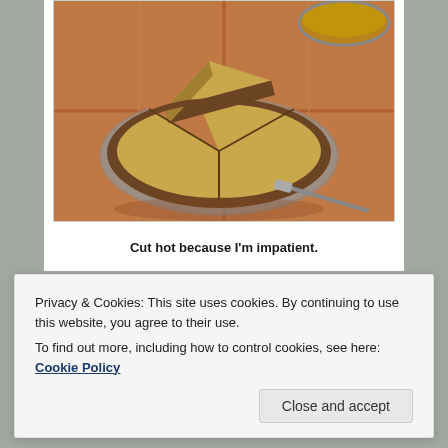[Figure (photo): A pie (appears to be pumpkin or custard pie) cut into slices in a foil pie pan on a red/terracotta tile surface. A second pie tin is visible in the upper right corner.]
Cut hot because I'm impatient.
Privacy & Cookies: This site uses cookies. By continuing to use this website, you agree to their use.
To find out more, including how to control cookies, see here: Cookie Policy